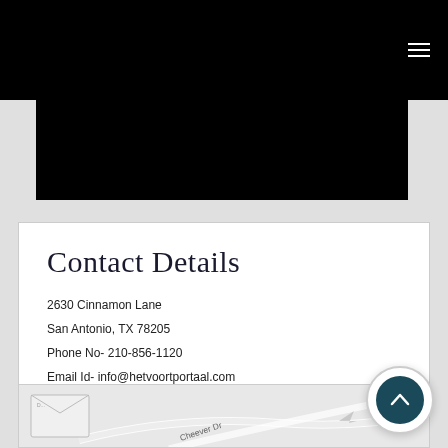[Figure (photo): Dark/black image block, partial website screenshot header area]
Contact Details
2630 Cinnamon Lane
San Antonio, TX 78205
Phone No- 210-856-1120
Email Id- info@hetvoortportaal.com
[Figure (map): Partial street map showing Cheever Dr label, with a partial envelope/document overlay in the bottom left]